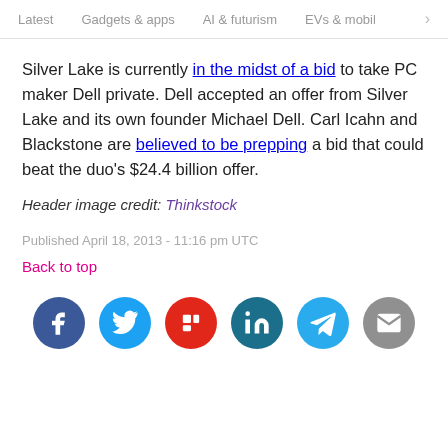Latest  Gadgets & apps  AI & futurism  EVs & mobil >
Silver Lake is currently in the midst of a bid to take PC maker Dell private. Dell accepted an offer from Silver Lake and its own founder Michael Dell. Carl Icahn and Blackstone are believed to be prepping a bid that could beat the duo's $24.4 billion offer.
Header image credit: Thinkstock
Published April 18, 2013 - 11:16 pm UTC
Back to top
[Figure (infographic): Row of 6 social sharing icon circles: Facebook (dark blue), Twitter (light blue), Flipboard (red), LinkedIn (teal), Telegram (cyan), Email (gray)]